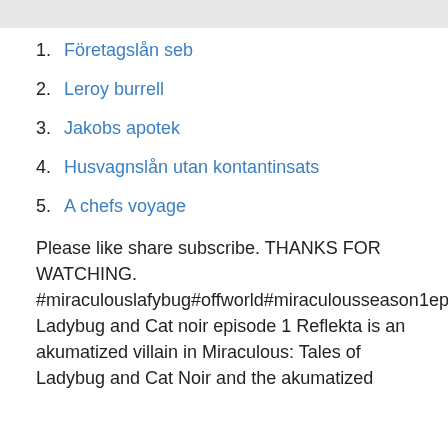1. Företagslån seb
2. Leroy burrell
3. Jakobs apotek
4. Husvagnslån utan kontantinsats
5. A chefs voyage
Please like share subscribe. THANKS FOR WATCHING. #miraculouslafybug#offworld#miraculousseason1ep19Miraculous Ladybug and Cat noir episode 1 Reflekta is an akumatized villain in Miraculous: Tales of Ladybug and Cat Noir and the akumatized